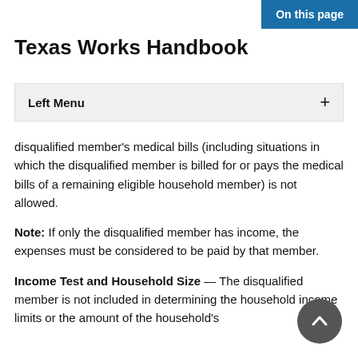On this page
Texas Works Handbook
Left Menu
disqualified member’s medical bills (including situations in which the disqualified member is billed for or pays the medical bills of a remaining eligible household member) is not allowed.
Note: If only the disqualified member has income, the expenses must be considered to be paid by that member.
Income Test and Household Size — The disqualified member is not included in determining the household income limits or the amount of the household’s